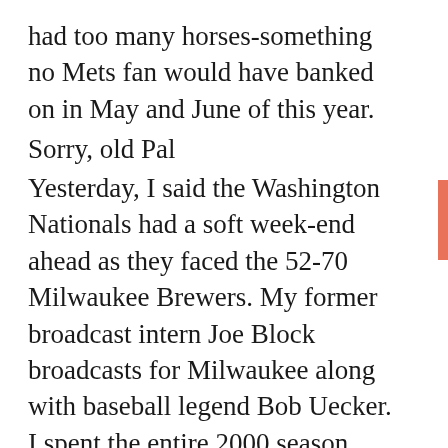had too many horses-something no Mets fan would have banked on in May and June of this year.
Sorry, old Pal
Yesterday, I said the Washington Nationals had a soft week-end ahead as they faced the 52-70 Milwaukee Brewers. My former broadcast intern Joe Block broadcasts for Milwaukee along with baseball legend Bob Uecker. I spent the entire 2000 season picking on Joe to toughen him up on his route to the top. I guess I was subconsciously still giving him the needle in this space yesterday. The Brewers had one of their better nights in it at the Nationals...